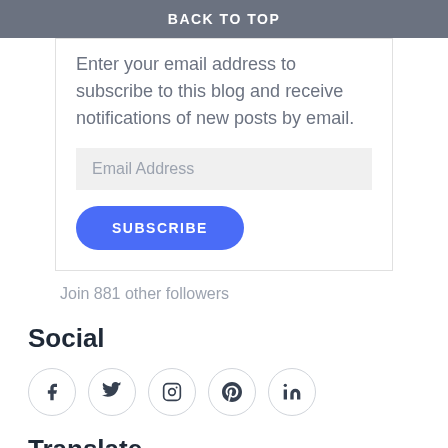BACK TO TOP
Enter your email address to subscribe to this blog and receive notifications of new posts by email.
Email Address
SUBSCRIBE
Join 881 other followers
Social
[Figure (other): Social media icons in circular borders: Facebook, Twitter, Instagram, Pinterest, LinkedIn]
Translate